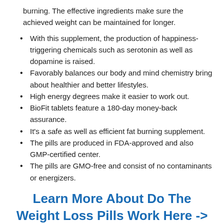burning. The effective ingredients make sure the achieved weight can be maintained for longer.
With this supplement, the production of happiness-triggering chemicals such as serotonin as well as dopamine is raised.
Favorably balances our body and mind chemistry bring about healthier and better lifestyles.
High energy degrees make it easier to work out.
BioFit tablets feature a 180-day money-back assurance.
It's a safe as well as efficient fat burning supplement.
The pills are produced in FDA-approved and also GMP-certified center.
The pills are GMO-free and consist of no contaminants or energizers.
Learn More About Do The Weight Loss Pills Work Here ->